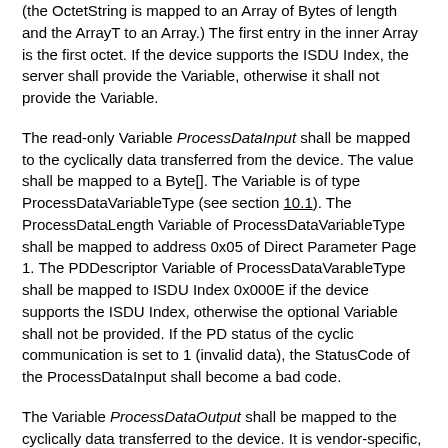(the OctetString is mapped to an Array of Bytes of length and the ArrayT to an Array.) The first entry in the inner Array is the first octet. If the device supports the ISDU Index, the server shall provide the Variable, otherwise it shall not provide the Variable.
The read-only Variable ProcessDataInput shall be mapped to the cyclically data transferred from the device. The value shall be mapped to a Byte[]. The Variable is of type ProcessDataVariableType (see section 10.1). The ProcessDataLength Variable of ProcessDataVariableType shall be mapped to address 0x05 of Direct Parameter Page 1. The PDDescriptor Variable of ProcessDataVarableType shall be mapped to ISDU Index 0x000E if the device supports the ISDU Index, otherwise the optional Variable shall not be provided. If the PD status of the cyclic communication is set to 1 (invalid data), the StatusCode of the ProcessDataInput shall become a bad code.
The Variable ProcessDataOutput shall be mapped to the cyclically data transferred to the device. It is vendor-specific, if the Variable is writeable. The value shall be mapped to a Byte[]. The Variable is of type ProcessDataVariableType (see section 10.1). The